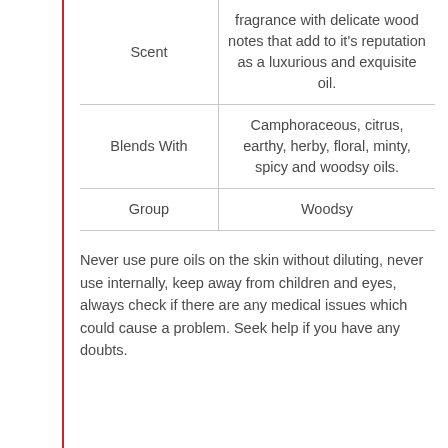| Scent | fragrance with delicate wood notes that add to it's reputation as a luxurious and exquisite oil. |
| Blends With | Camphoraceous, citrus, earthy, herby, floral, minty, spicy and woodsy oils. |
| Group | Woodsy |
Never use pure oils on the skin without diluting, never use internally, keep away from children and eyes, always check if there are any medical issues which could cause a problem. Seek help if you have any doubts.